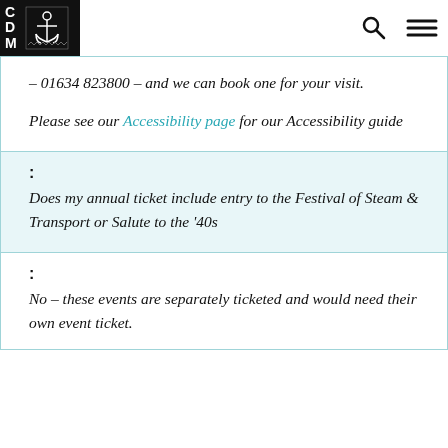CDM [anchor logo] [search icon] [menu icon]
– 01634 823800 – and we can book one for your visit.
Please see our Accessibility page for our Accessibility guide
: Does my annual ticket include entry to the Festival of Steam & Transport or Salute to the '40s
: No – these events are separately ticketed and would need their own event ticket.